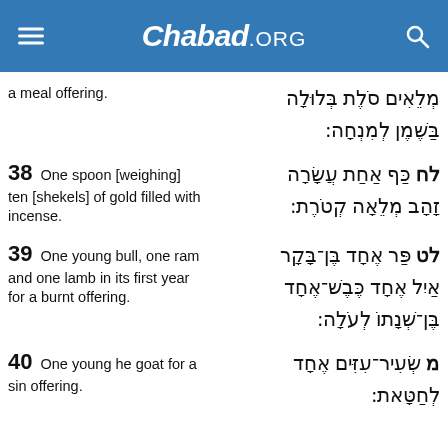Chabad.ORG
a meal offering.
מְלֵאִים סֹלֶת בְּלוּלָה בַּשֶּׁמֶן לְמִנְחָה:
38  One spoon [weighing] ten [shekels] of gold filled with incense.
לח כַּף אַחַת עֲשָׂרָה זָהָב מְלֵאָה קְטֹרֶת:
39  One young bull, one ram and one lamb in its first year for a burnt offering.
לט פַּר אֶחָד בֶּן־בָּקָר אַיִל אֶחָד כֶּבֶשׁ־אֶחָד בֶּן־שְׁנָתוֹ לְעֹלָה:
40  One young he goat for a sin offering.
מ שְׂעִיר־עִזִּים אֶחָד לְחַטָּאת: